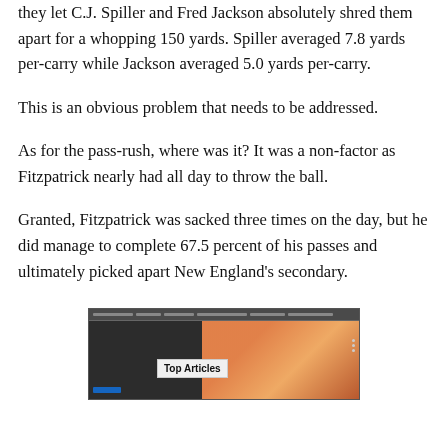they let C.J. Spiller and Fred Jackson absolutely shred them apart for a whopping 150 yards. Spiller averaged 7.8 yards per-carry while Jackson averaged 5.0 yards per-carry.
This is an obvious problem that needs to be addressed.
As for the pass-rush, where was it? It was a non-factor as Fitzpatrick nearly had all day to throw the ball.
Granted, Fitzpatrick was sacked three times on the day, but he did manage to complete 67.5 percent of his passes and ultimately picked apart New England's secondary.
[Figure (screenshot): Screenshot thumbnail showing a dark video player interface with a 'Top Articles' label overlay and colorful background image on the right side.]